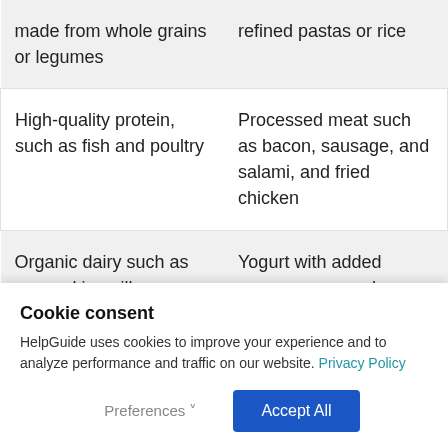| made from whole grains or legumes | refined pastas or rice |
| High-quality protein, such as fish and poultry | Processed meat such as bacon, sausage, and salami, and fried chicken |
| Organic dairy such as eggs, skim milk, or unsweetened yogurt | Yogurt with added sugar; processed cheese |
Cookie consent
HelpGuide uses cookies to improve your experience and to analyze performance and traffic on our website. Privacy Policy